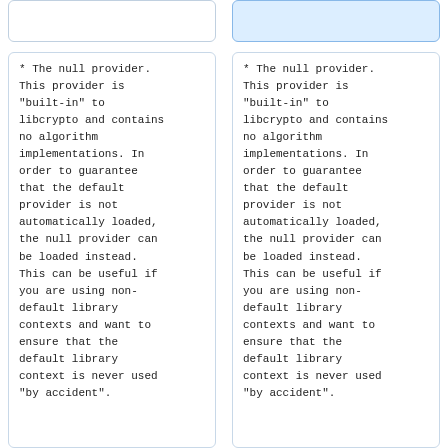[Figure (screenshot): Top bar input/search field on left column, partially visible]
[Figure (screenshot): Top bar input/search field on right column, highlighted blue, partially visible]
* The null provider. This provider is "built-in" to libcrypto and contains no algorithm implementations. In order to guarantee that the default provider is not automatically loaded, the null provider can be loaded instead. This can be useful if you are using non-default library contexts and want to ensure that the default library context is never used "by accident".
* The null provider. This provider is "built-in" to libcrypto and contains no algorithm implementations. In order to guarantee that the default provider is not automatically loaded, the null provider can be loaded instead. This can be useful if you are using non-default library contexts and want to ensure that the default library context is never used "by accident".